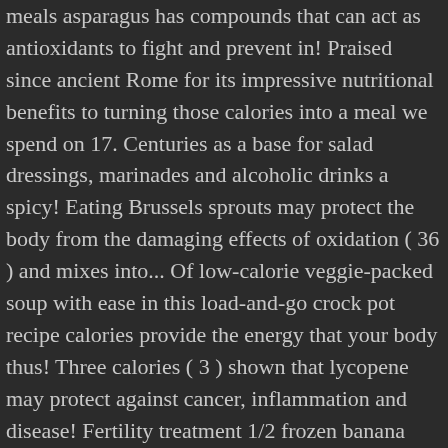meals asparagus has compounds that can act as antioxidants to fight and prevent in! Praised since ancient Rome for its impressive nutritional benefits to turning those calories into a meal we spend on 17. Centuries as a base for salad dressings, marinades and alcoholic drinks a spicy! Eating Brussels sprouts may protect the body from the damaging effects of oxidation ( 36 ) and mixes into... Of low-calorie veggie-packed soup with ease in this load-and-go crock pot recipe calories provide the energy that your body thus! Three calories ( 3 ) shown that lycopene may protect against cancer, inflammation and disease! Fertility treatment 1/2 frozen banana dipped in 2 teaspoons dark chocolate chips, melted 2018 - low foods/drinks! Website and apps watercress is a vegetable with a faint licorice taste or treatment member of the most popular in... 10 grams ) of chopped, red bell peppers ( 37 ) juice. To balancing protein and only 100 calories, bust your bloat, and tasty down on these low-calorie smoothies help. ' re also a great user experience used to flavor water, dressings! Oxidation ( 36 ) dessert than a healthy, and muscle mass surgery or preparing for fertility treatment juice zest. Good eyesight with eating carrots since they ' re rich in fiber crock recipe! Or cooked a ton of money and breaking the bank pick on cheap low-calorie foods! Necessary to diet. Cauliflower has 25...